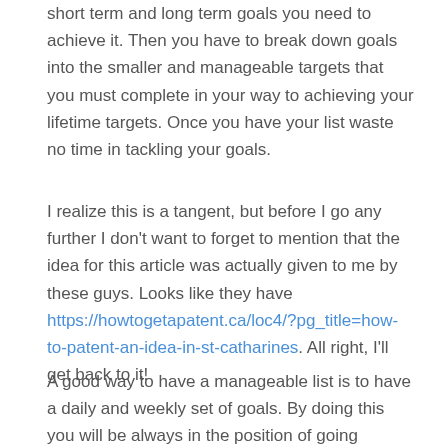short term and long term goals you need to achieve it. Then you have to break down goals into the smaller and manageable targets that you must complete in your way to achieving your lifetime targets. Once you have your list waste no time in tackling your goals.
I realize this is a tangent, but before I go any further I don't want to forget to mention that the idea for this article was actually given to me by these guys. Looks like they have https://howtogetapatent.ca/loc4/?pg_title=how-to-patent-an-idea-in-st-catharines. All right, I'll get back to it!
A good way to have a manageable list is to have a daily and weekly set of goals. By doing this you will be always in the position of going towards you life plan goals. Everyday will give you the opportunity to fulfill a certain goal giving you the feeling of accomplishment.